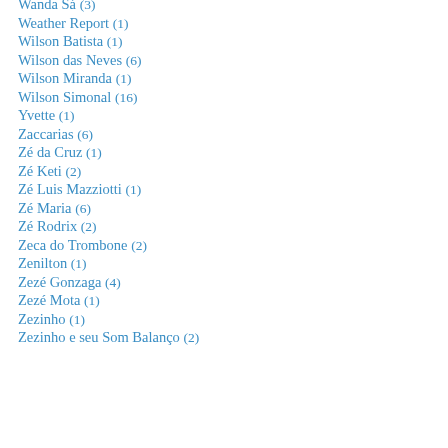Wanda Sá (3)
Weather Report (1)
Wilson Batista (1)
Wilson das Neves (6)
Wilson Miranda (1)
Wilson Simonal (16)
Yvette (1)
Zaccarias (6)
Zé da Cruz (1)
Zé Keti (2)
Zé Luis Mazziotti (1)
Zé Maria (6)
Zé Rodrix (2)
Zeca do Trombone (2)
Zenilton (1)
Zezé Gonzaga (4)
Zezé Mota (1)
Zezinho (1)
Zezinho e seu Som Balanço (2)